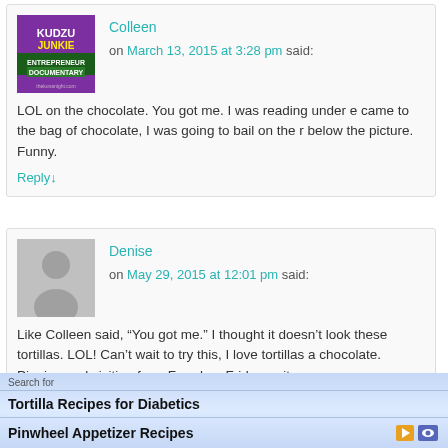[Figure (screenshot): Comment block from Colleen with Kudzu Junkie Entrepreneur Documentary avatar image]
Colleen on March 13, 2015 at 3:28 pm said:
LOL on the chocolate. You got me. I was reading under e came to the bag of chocolate, I was going to bail on the r below the picture. Funny.
Reply↓
[Figure (screenshot): Comment block from Denise with gray silhouette avatar]
Denise on May 29, 2015 at 12:01 pm said:
Like Colleen said, "You got me." I thought it doesn't look these tortillas. LOL! Can't wait to try this, I love tortillas a chocolate. Pinning and visiting from Freedom Fridays wit
Search for
Tortilla Recipes for Diabetics
Pinwheel Appetizer Recipes